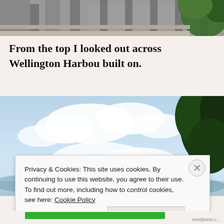[Figure (photo): Top portion of a photo showing what appears to be a building railing/balcony with greenery on the right side]
From the top I looked out across Wellington Harbour built on.
[Figure (photo): A scenic outdoor photo showing a bright blue sky with white clouds and a large dark leafy tree on the right side, with landscape visible below]
Privacy & Cookies: This site uses cookies. By continuing to use this website, you agree to their use.
To find out more, including how to control cookies, see here: Cookie Policy
Close and accept